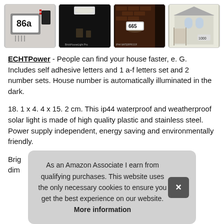[Figure (photo): Four product images of solar house number lights in a row: (1) flat lay of number plate kit showing '86a' with accessories, (2) dark outdoor scene showing light illuminating house number, (3) brick wall at night with illuminated house number, (4) white house exterior with gate]
ECHTPower - People can find your house faster, e. G. Includes self adhesive letters and 1 a-f letters set and 2 number sets. House number is automatically illuminated in the dark.
18. 1 x 4. 4 x 15. 2 cm. This ip44 waterproof and weatherproof solar light is made of high quality plastic and stainless steel. Power supply independent, energy saving and environmentally friendly.
Brig...
dim...
As an Amazon Associate I earn from qualifying purchases. This website uses the only necessary cookies to ensure you get the best experience on our website. More information